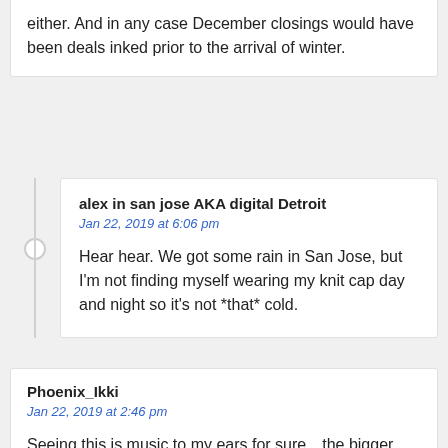either. And in any case December closings would have been deals inked prior to the arrival of winter.
alex in san jose AKA digital Detroit
Jan 22, 2019 at 6:06 pm
Hear hear. We got some rain in San Jose, but I'm not finding myself wearing my knit cap day and night so it's not *that* cold.
Phoenix_Ikki
Jan 22, 2019 at 2:46 pm
Seeing this is music to my ears for sure…the bigger